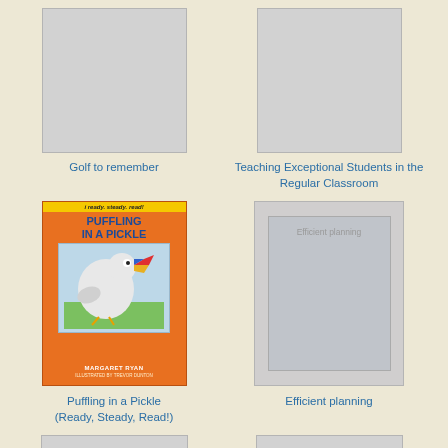[Figure (illustration): Book cover placeholder (gray rectangle) for Golf to remember]
Golf to remember
[Figure (illustration): Book cover placeholder (gray rectangle) for Teaching Exceptional Students in the Regular Classroom]
Teaching Exceptional Students in the Regular Classroom
[Figure (illustration): Book cover image: Puffling in a Pickle (Ready, Steady, Read!) by Margaret Ryan, illustrated by Trevor Dunton. Orange cover with cartoon bird illustration.]
Puffling in a Pickle (Ready, Steady, Read!)
[Figure (illustration): Book cover placeholder (gray rectangle) for Efficient planning, showing inner gray box with 'Efficient planning' text]
Efficient planning